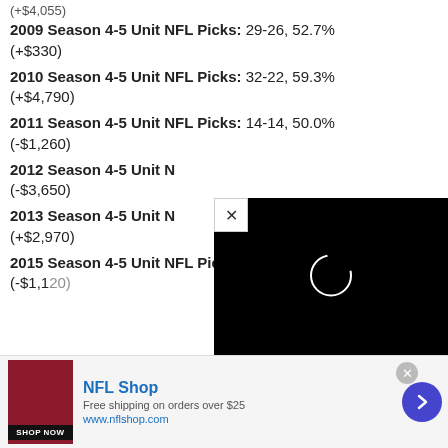2008 Season 4-5 Unit NFL Picks: 39-26-2, 60.0% (+$4,055)
2009 Season 4-5 Unit NFL Picks: 29-26, 52.7% (+$330)
2010 Season 4-5 Unit NFL Picks: 32-22, 59.3% (+$4,790)
2011 Season 4-5 Unit NFL Picks: 14-14, 50.0% (-$1,260)
2012 Season 4-5 Unit NFL Picks: [partially obscured] (-$3,650)
2013 Season 4-5 Unit NFL Picks: [partially obscured] (+$2,970)
2015 Season 4-5 Unit NFL Picks: 17-16-2, 51.5% (-$1,120)
[Figure (screenshot): Video player overlay with black background, loading spinner circle, and X close button in top-left corner]
[Figure (screenshot): NFL Shop advertisement banner with red jersey image, Shop Now button, NFL Shop title, free shipping offer text, www.nflshop.com URL, close button, and navigation arrow]